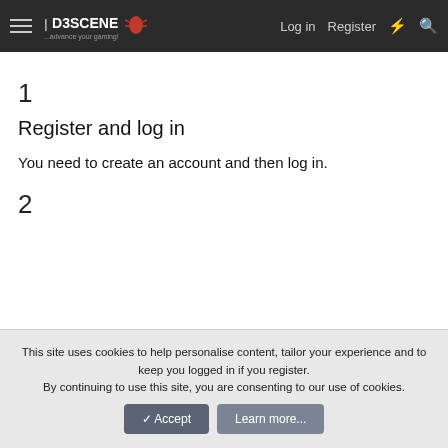D3SCENE | Log in | Register
1
Register and log in
You need to create an account and then log in.
2
This site uses cookies to help personalise content, tailor your experience and to keep you logged in if you register. By continuing to use this site, you are consenting to our use of cookies.